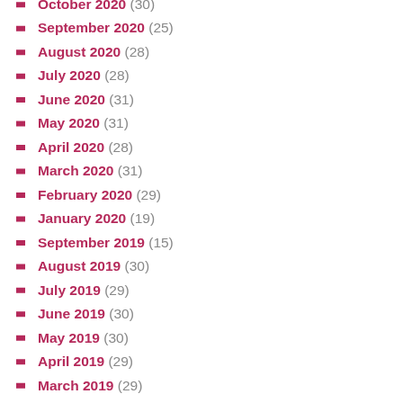October 2020 (30)
September 2020 (25)
August 2020 (28)
July 2020 (28)
June 2020 (31)
May 2020 (31)
April 2020 (28)
March 2020 (31)
February 2020 (29)
January 2020 (19)
September 2019 (15)
August 2019 (30)
July 2019 (29)
June 2019 (30)
May 2019 (30)
April 2019 (29)
March 2019 (29)
February 2019 (26)
January 2019 (28)
December 2018 (30)
November 2018 (28)